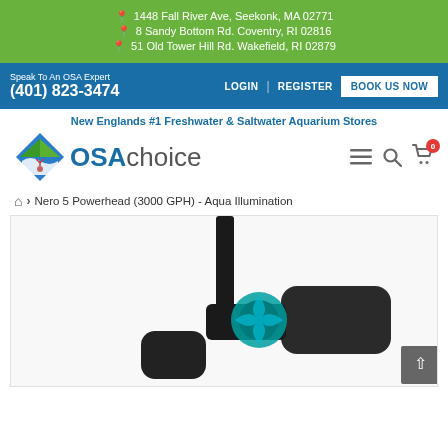1448 Fall River Ave, Seekonk, MA 02771
8 Sandy Bottom Rd. Coventry, RI 02816
51 Old Tower Hill Rd. Wakefield, RI 02879
Speak To An OSA Expert
(401) 823-3474
LOGIN | REGISTER
BOOK US NOW
New Englands #1 Freshwater & Saltwater Aquarium Stores
[Figure (logo): OSAchoice logo with diamond/mountain SVG icon in blue and green]
Nero 5 Powerhead (3000 GPH) - Aqua Illumination
[Figure (photo): Nero 5 Powerhead aquarium pump product photo on white background, showing black device with teal/blue accent and cylindrical motor, mounted on a black stand]